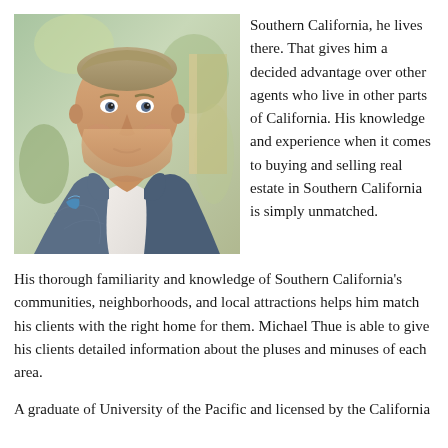[Figure (photo): Portrait photo of a middle-aged man in a blue blazer with a blue pocket square and white dress shirt, outdoors with greenery in background.]
Southern California, he lives there. That gives him a decided advantage over other agents who live in other parts of California. His knowledge and experience when it comes to buying and selling real estate in Southern California is simply unmatched.
His thorough familiarity and knowledge of Southern California's communities, neighborhoods, and local attractions helps him match his clients with the right home for them. Michael Thue is able to give his clients detailed information about the pluses and minuses of each area.
A graduate of University of the Pacific and licensed by the California